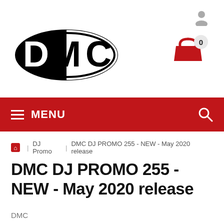[Figure (logo): DMC logo: black oval with DMC text in white and black lettering]
[Figure (other): Shopping cart icon in red with badge showing 0]
[Figure (other): Red navigation menu bar with hamburger menu icon, MENU text, and search icon]
DJ Promo | DMC DJ PROMO 255 - NEW - May 2020 release
DMC DJ PROMO 255 - NEW - May 2020 release
DMC